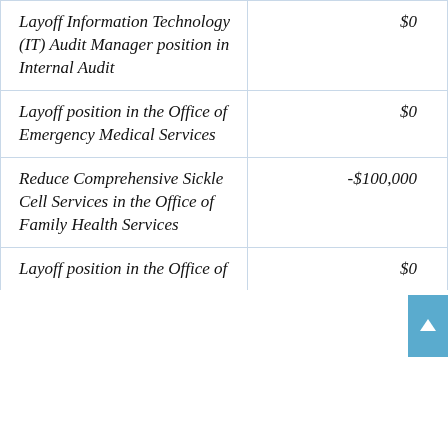| Description | Amount |
| --- | --- |
| Layoff Information Technology (IT) Audit Manager position in Internal Audit | $0 |
| Layoff position in the Office of Emergency Medical Services | $0 |
| Reduce Comprehensive Sickle Cell Services in the Office of Family Health Services | -$100,000 |
| Layoff position in the Office of | $0 |